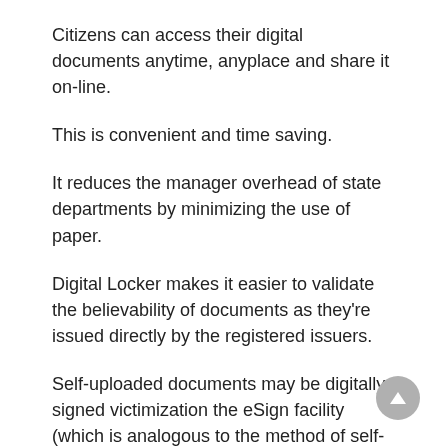Citizens can access their digital documents anytime, anyplace and share it on-line.
This is convenient and time saving.
It reduces the manager overhead of state departments by minimizing the use of paper.
Digital Locker makes it easier to validate the believability of documents as they're issued directly by the registered issuers.
Self-uploaded documents may be digitally signed victimization the eSign facility (which is analogous to the method of self-attestation).
DigiLocker might be a platform for supplying ANd